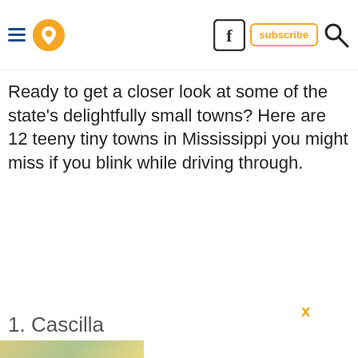[Navigation header with hamburger menu, location pin icon, Facebook icon, subscribe button, search icon]
Ready to get a closer look at some of the state's delightfully small towns? Here are 12 teeny tiny towns in Mississippi you might miss if you blink while driving through.
1. Cascilla